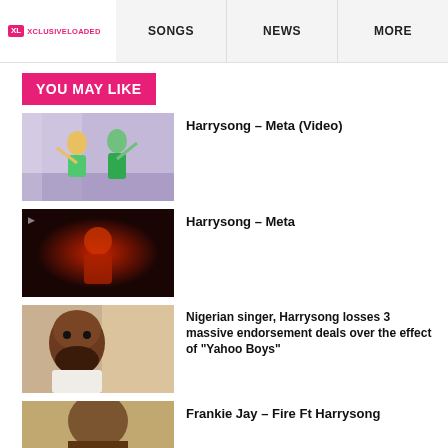XL XCLUSIVELOADED | SONGS | NEWS | MORE
YOU MAY LIKE
[Figure (photo): Two women dancing in a room, video still]
Harrysong – Meta (Video)
[Figure (photo): Red-toned dark artwork with a figure]
Harrysong – Meta
[Figure (photo): Nigerian male artist with beard, close-up portrait]
Nigerian singer, Harrysong losses 3 massive endorsement deals over the effect of "Yahoo Boys"
[Figure (photo): Partial image of another artist]
Frankie Jay – Fire Ft Harrysong